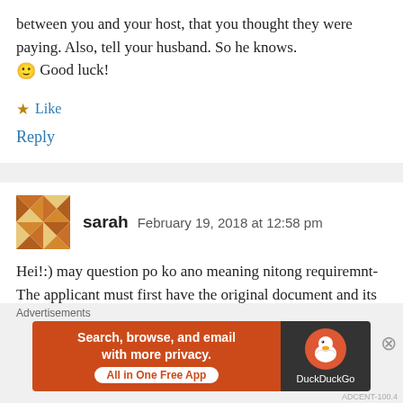between you and your host, that you thought they were paying. Also, tell your husband. So he knows. 🙂 Good luck!
★ Like
Reply
sarah   February 19, 2018 at 12:58 pm
Hei!:) may question po ko ano meaning nitong requiremnt- The applicant must first have the original document and its English translation
[Figure (infographic): DuckDuckGo advertisement banner: orange left section with text 'Search, browse, and email with more privacy. All in One Free App', dark right section with DuckDuckGo logo duck icon and 'DuckDuckGo' text]
Advertisements